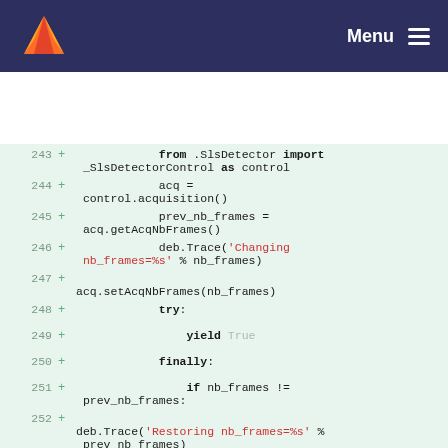GitLab Menu
[Figure (screenshot): GitLab code diff view showing Python code lines 243-253 with additions marked in green background]
243 +            from .SlsDetector import _SlsDetectorControl as control
244 +            acq = control.acquisition()
245 +            prev_nb_frames = acq.getAcqNbFrames()
246 +            deb.Trace('Changing nb_frames=%s' % nb_frames)
247 +
acq.setAcqNbFrames(nb_frames)
248 +            try:
249 +                yield True
250 +            finally:
251 +                if nb_frames != prev_nb_frames:
252 +
deb.Trace('Restoring nb_frames=%s' % prev_nb_frames)
253 +
acq.setAcqNbFrames(prev_nb_frames)